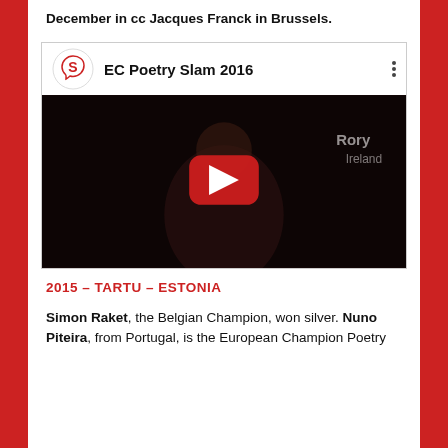December in cc Jacques Franck in Brussels.
[Figure (screenshot): YouTube video thumbnail for 'EC Poetry Slam 2016' showing a man reading at a poetry slam event on a dark stage. A logo with the letter S in a circle is visible in the top-left. The text 'Rory' and 'Ireland' appears on the right side. A red play button is centered on the image.]
2015 – TARTU – ESTONIA
Simon Raket, the Belgian Champion, won silver. Nuno Piteira, from Portugal, is the European Champion Poetry